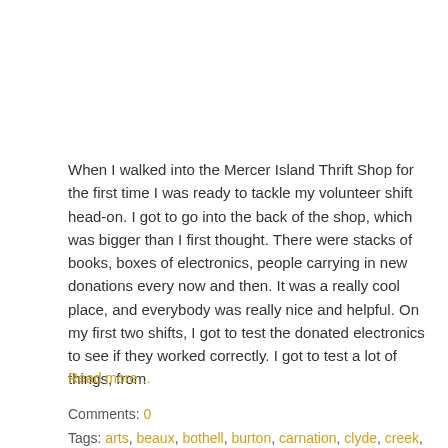When I walked into the Mercer Island Thrift Shop for the first time I was ready to tackle my volunteer shift head-on. I got to go into the back of the shop, which was bigger than I first thought. There were stacks of books, boxes of electronics, people carrying in new donations every now and then. It was a really cool place, and everybody was really nice and helpful. On my first two shifts, I got to test the donated electronics to see if they worked correctly. I got to test a lot of things, from
Read more…
Comments: 0
Tags: arts, beaux, bothell, burton, carnation, clyde, creek, eastgate, hill, hills…